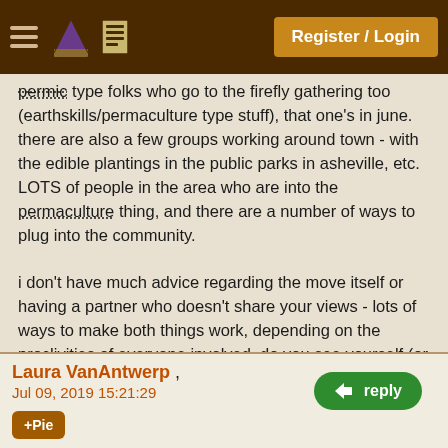Register / Login
permic type folks who go to the firefly gathering too (earthskills/permaculture type stuff), that one's in june. there are also a few groups working around town - with the edible plantings in the public parks in asheville, etc. LOTS of people in the area who are into the permaculture thing, and there are a number of ways to plug into the community.

i don't have much advice regarding the move itself or having a partner who doesn't share your views - lots of ways to make both things work, depending on the proclivities of everyone involved. do you see yourself (or both you and your partner) coming down for several brief preparatory visits, or would you try for a longer more immersive planning/building 'vacation'? lots to think about.
Laura VanAntwerp , Jul 09, 2019 15:21:29